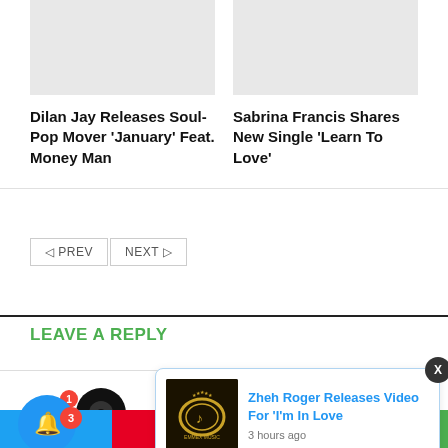[Figure (screenshot): Gray placeholder image for article card 1]
Dilan Jay Releases Soul-Pop Mover ‘January’ Feat. Money Man
[Figure (screenshot): Gray placeholder image for article card 2]
Sabrina Francis Shares New Single ‘Learn To Love’
PREV   NEXT
LEAVE A REPLY
Your
[Figure (logo): Emmex Music logo — gold laurel wreath on black background]
Zheh Roger Releases Video For 'I'm In Love
3 hours ago